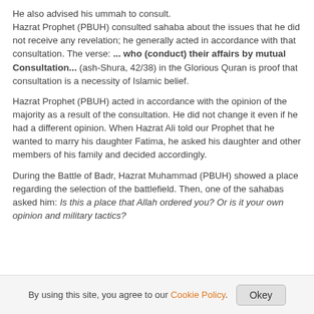He also advised his ummah to consult. Hazrat Prophet (PBUH) consulted sahaba about the issues that he did not receive any revelation; he generally acted in accordance with that consultation. The verse: ... who (conduct) their affairs by mutual Consultation... (ash-Shura, 42/38) in the Glorious Quran is proof that consultation is a necessity of Islamic belief.
Hazrat Prophet (PBUH) acted in accordance with the opinion of the majority as a result of the consultation. He did not change it even if he had a different opinion. When Hazrat Ali told our Prophet that he wanted to marry his daughter Fatima, he asked his daughter and other members of his family and decided accordingly.
During the Battle of Badr, Hazrat Muhammad (PBUH) showed a place regarding the selection of the battlefield. Then, one of the sahabas asked him: Is this a place that Allah ordered you? Or is it your own opinion and military tactics?
By using this site, you agree to our Cookie Policy. Okey